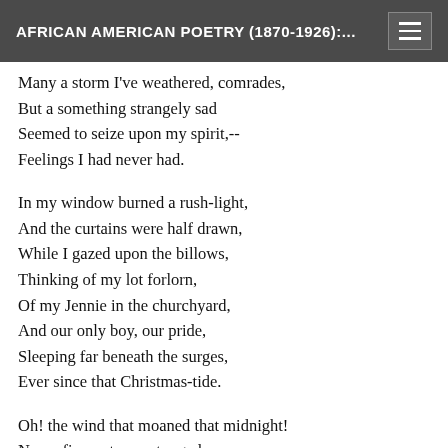AFRICAN AMERICAN POETRY (1870-1926):...
Many a storm I've weathered, comrades,
But a something strangely sad
Seemed to seize upon my spirit,--
Feelings I had never had.
In my window burned a rush-light,
And the curtains were half drawn,
While I gazed upon the billows,
Thinking of my lot forlorn,
Of my Jennie in the churchyard,
And our only boy, our pride,
Sleeping far beneath the surges,
Ever since that Christmas-tide.
Oh! the wind that moaned that midnight!
Never fiercer tempest raged
As I strode into the darkness,